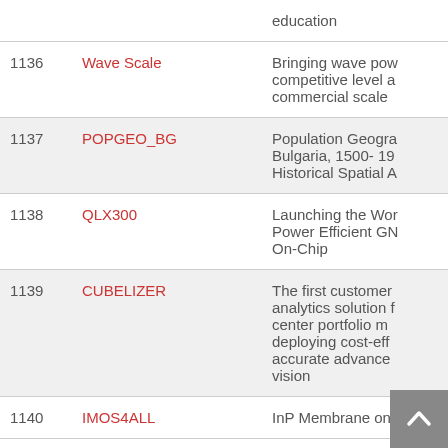| Number | Project | Description |
| --- | --- | --- |
|  |  | education |
| 1136 | Wave Scale | Bringing wave pow... competitive level a... commercial scale |
| 1137 | POPGEO_BG | Population Geogra... Bulgaria, 1500- 19... Historical Spatial A... |
| 1138 | QLX300 | Launching the Wor... Power Efficient GN... On-Chip |
| 1139 | CUBELIZER | The first customer... analytics solution f... center portfolio m... deploying cost-eff... accurate advance... vision |
| 1140 | IMOS4ALL | InP Membrane on... |